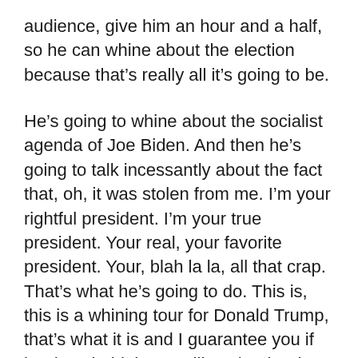audience, give him an hour and a half, so he can whine about the election because that's really all it's going to be.
He's going to whine about the socialist agenda of Joe Biden. And then he's going to talk incessantly about the fact that, oh, it was stolen from me. I'm your rightful president. I'm your true president. Your real, your favorite president. Your, blah la la, all that crap. That's what he's going to do. This is, this is a whining tour for Donald Trump, that's what it is and I guarantee you if he does hold these rallies, that is what he is going to talk about most of the time. Talk about how he was untreated, treated so unfairly. Talking about the ousting of Liz Cheney and everybody's going to clap when he talks about